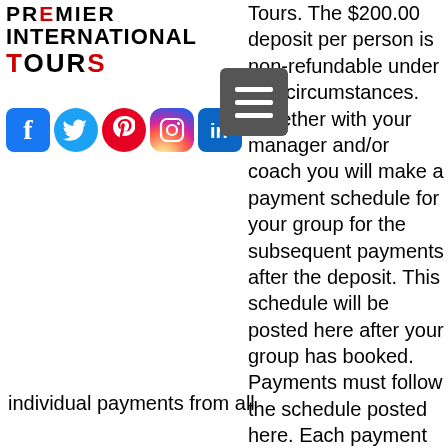[Figure (logo): Premier International Tours logo with text stacked in three lines]
Tours. The $200.00 deposit per person is non-refundable under any circumstances. Together with your manager and/or coach you will make a payment schedule for your group for the subsequent payments after the deposit. This schedule will be posted here after your group has booked. Payments must follow the schedule posted here. Each payment installment must be made as one group payment on behalf of all paying travelers via wire transfer. Your group needs to assign a person to collect individual payments from all
[Figure (infographic): Social media icons row: Facebook, Twitter, Pinterest, Instagram, LinkedIn]
[Figure (other): Hamburger menu icon button (grey square with three white lines)]